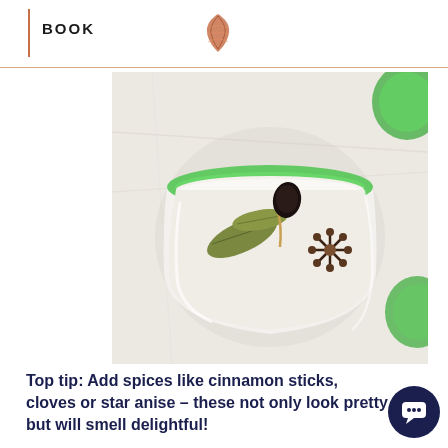BOOK
[Figure (photo): A glass with a green rim containing a white milky drink topped with spices including a star anise, dark seed pod, and bay leaves. Green glass vessels visible in background on white marble surface.]
Top tip: Add spices like cinnamon sticks, cloves or star anise – these not only look pretty but will smell delightful!